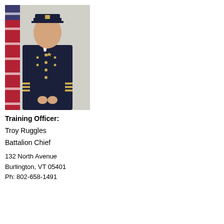[Figure (photo): A fire department officer in formal dark navy uniform with gold buttons and insignia, wearing a captain's hat, standing in front of an American flag.]
Training Officer:
Troy Ruggles
Battalion Chief
132 North Avenue
Burlington, VT 05401
Ph: 802-658-1491